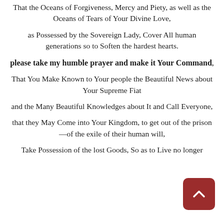That the Oceans of Forgiveness, Mercy and Piety, as well as the Oceans of Tears of Your Divine Love,
as Possessed by the Sovereign Lady, Cover All human generations so to Soften the hardest hearts.
please take my humble prayer and make it Your Command,
That You Make Known to Your people the Beautiful News about Your Supreme Fiat
and the Many Beautiful Knowledges about It and Call Everyone,
that they May Come into Your Kingdom, to get out of the prison—of the exile of their human will,
Take Possession of the lost Goods, So as to Live no longer